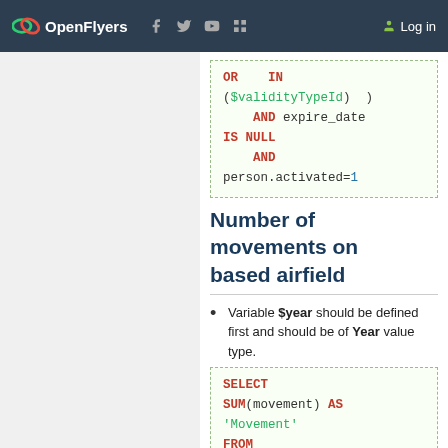OpenFlyers | Log in
[Figure (screenshot): Code block showing SQL snippet: OR IN ($validityTypeId) AND expire_date IS NULL AND person.activated=1]
Number of movements on based airfield
Variable $year should be defined first and should be of Year value type.
[Figure (screenshot): Code block showing SQL: SELECT SUM(movement) AS 'Movement' FROM ( SELECT COUNT(*) AS movement]